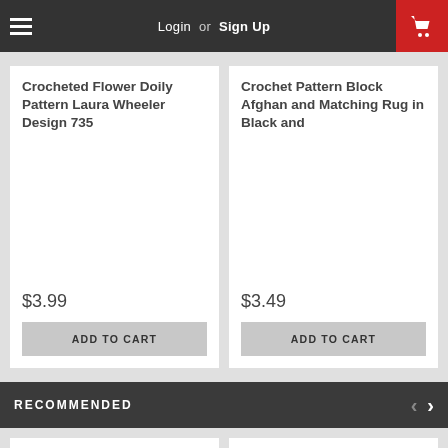Login or Sign Up
Crocheted Flower Doily Pattern Laura Wheeler Design 735
$3.99
ADD TO CART
Crochet Pattern Block Afghan and Matching Rug in Black and
$3.49
ADD TO CART
RECOMMENDED
[Figure (illustration): Design 7120 crochet pattern cover showing floral design items with 'Todays Treasure Pattern Shop' text]
[Figure (illustration): Loading spinner for a recommended product image]